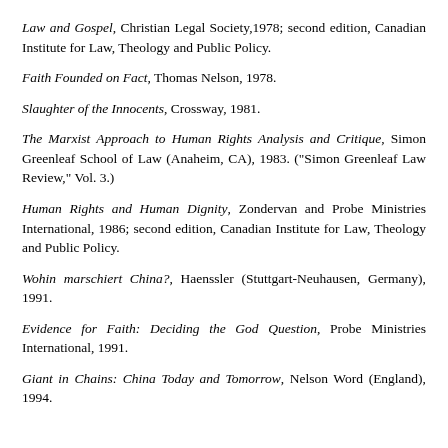Law and Gospel, Christian Legal Society,1978; second edition, Canadian Institute for Law, Theology and Public Policy.
Faith Founded on Fact, Thomas Nelson, 1978.
Slaughter of the Innocents, Crossway, 1981.
The Marxist Approach to Human Rights Analysis and Critique, Simon Greenleaf School of Law (Anaheim, CA), 1983. ("Simon Greenleaf Law Review," Vol. 3.)
Human Rights and Human Dignity, Zondervan and Probe Ministries International, 1986; second edition, Canadian Institute for Law, Theology and Public Policy.
Wohin marschiert China?, Haenssler (Stuttgart-Neuhausen, Germany), 1991.
Evidence for Faith: Deciding the God Question, Probe Ministries International, 1991.
Giant in Chains: China Today and Tomorrow, Nelson Word (England), 1994.